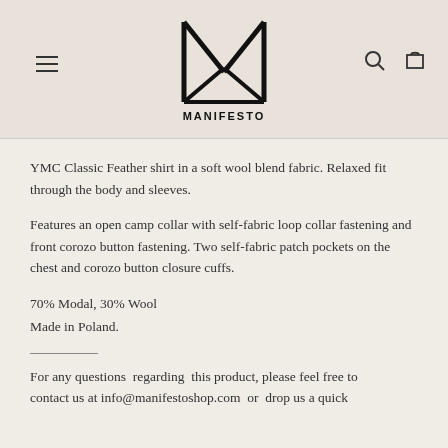[Figure (logo): Manifesto shop logo — stylized M with triangular base, bold geometric mark above the word MANIFESTO]
YMC Classic Feather shirt in a soft wool blend fabric. Relaxed fit through the body and sleeves.
Features an open camp collar with self-fabric loop collar fastening and front corozo button fastening. Two self-fabric patch pockets on the chest and corozo button closure cuffs.
70% Modal, 30% Wool
Made in Poland.
For any questions  regarding  this product, please feel free to contact us at info@manifestoshop.com  or  drop us a quick